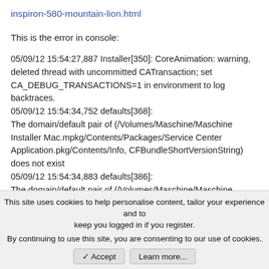inspiron-580-mountain-lion.html
This is the error in console:
05/09/12 15:54:27,887 Installer[350]: CoreAnimation: warning, deleted thread with uncommitted CATransaction; set CA_DEBUG_TRANSACTIONS=1 in environment to log backtraces.
05/09/12 15:54:34,752 defaults[368]:
The domain/default pair of (/Volumes/Maschine/Maschine Installer Mac.mpkg/Contents/Packages/Service Center Application.pkg/Contents/Info, CFBundleShortVersionString) does not exist
05/09/12 15:54:34,883 defaults[386]:
The domain/default pair of (/Volumes/Maschine/Maschine Installer Mac.mpkg/Contents/Packages/Controller Editor Application.pkg/Contents/Info, CFBundleShortVersionString)
This site uses cookies to help personalise content, tailor your experience and to keep you logged in if you register.
By continuing to use this site, you are consenting to our use of cookies.